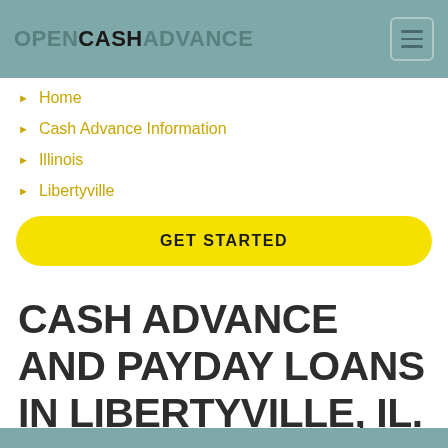OPENCASHADVANCE
Home
Cash Advance Information
Illinois
Libertyville
GET STARTED
CASH ADVANCE AND PAYDAY LOANS IN LIBERTYVILLE, IL.